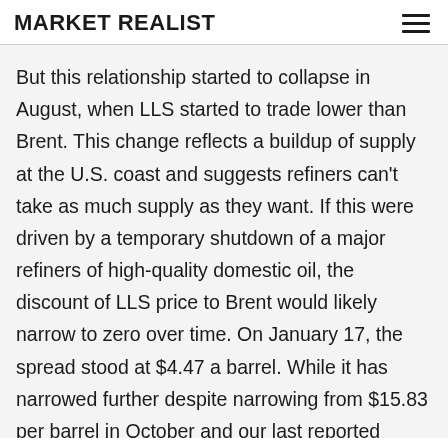MARKET REALIST
But this relationship started to collapse in August, when LLS started to trade lower than Brent. This change reflects a buildup of supply at the U.S. coast and suggests refiners can't take as much supply as they want. If this were driven by a temporary shutdown of a major refiners of high-quality domestic oil, the discount of LLS price to Brent would likely narrow to zero over time. On January 17, the spread stood at $4.47 a barrel. While it has narrowed further despite narrowing from $15.83 per barrel in October and our last reported $7.70 per barrel for December 23, the consistent discount suggests that U.S. refineries may have hit capacity to refine U.S. domestic oil.